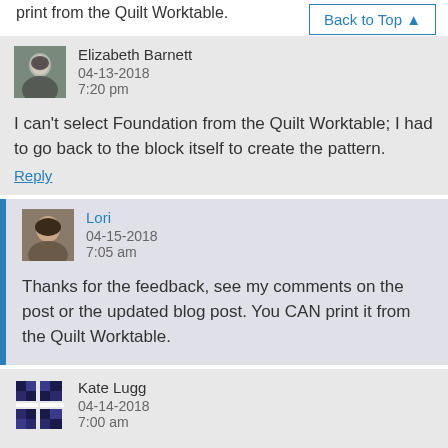print from the Quilt Worktable.
Back to Top ▲
[Figure (photo): Avatar photo of Elizabeth Barnett]
Elizabeth Barnett
04-13-2018
7:20 pm
I can't select Foundation from the Quilt Worktable; I had to go back to the block itself to create the pattern.
Reply
[Figure (photo): Avatar photo of Lori]
Lori
04-15-2018
7:05 am
Thanks for the feedback, see my comments on the post or the updated blog post. You CAN print it from the Quilt Worktable.
[Figure (illustration): Quilt pattern avatar icon for Kate Lugg]
Kate Lugg
04-14-2018
7:00 am
I'm having the same problem with the printing options. Quilt,